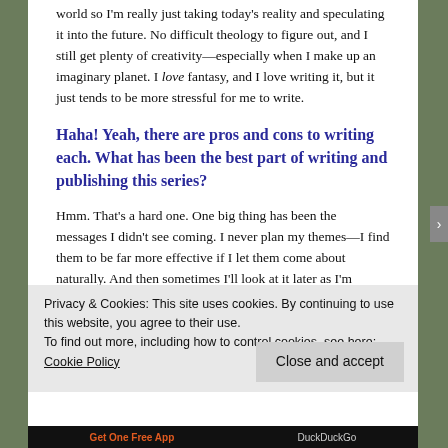world so I'm really just taking today's reality and speculating it into the future. No difficult theology to figure out, and I still get plenty of creativity—especially when I make up an imaginary planet. I love fantasy, and I love writing it, but it just tends to be more stressful for me to write.
Haha! Yeah, there are pros and cons to writing each. What has been the best part of writing and publishing this series?
Hmm. That's a hard one. One big thing has been the messages I didn't see coming. I never plan my themes—I find them to be far more effective if I let them come about naturally. And then sometimes I'll look at it later as I'm editing or something, and I'll notice a theme I never did before that really means something to me now. Also, I've grown up a lot since I started writing this
Privacy & Cookies: This site uses cookies. By continuing to use this website, you agree to their use.
To find out more, including how to control cookies, see here: Cookie Policy